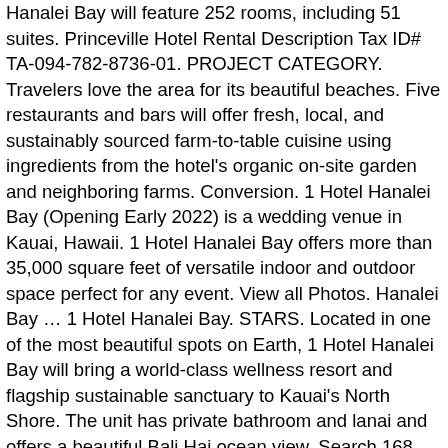Hanalei Bay will feature 252 rooms, including 51 suites. Princeville Hotel Rental Description Tax ID# TA-094-782-8736-01. PROJECT CATEGORY. Travelers love the area for its beautiful beaches. Five restaurants and bars will offer fresh, local, and sustainably sourced farm-to-table cuisine using ingredients from the hotel's organic on-site garden and neighboring farms. Conversion. 1 Hotel Hanalei Bay (Opening Early 2022) is a wedding venue in Kauai, Hawaii. 1 Hotel Hanalei Bay offers more than 35,000 square feet of versatile indoor and outdoor space perfect for any event. View all Photos. Hanalei Bay ... 1 Hotel Hanalei Bay. STARS. Located in one of the most beautiful spots on Earth, 1 Hotel Hanalei Bay will bring a world-class wellness resort and flagship sustainable sanctuary to Kauai's North Shore. The unit has private bathroom and lanai and offers a beautiful Bali Hai ocean view. Search 168 hotels near Hanalei Bay. A new stay is sprouting on Kauai's North Shore. 1 Hotel Hanalei Bay : Click Here to View Full Hotel Description >> The Princeville Resort, HI. 5520 Ka Haku Road View Full Profile. Now seeing expecting opening 'early 2022' not sure what that means?? Below is the hotel's